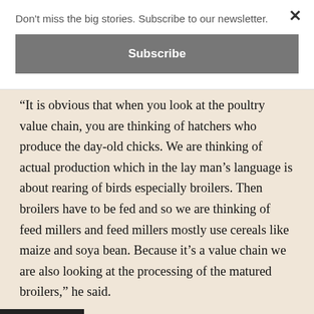Don't miss the big stories. Subscribe to our newsletter.
Subscribe
“It is obvious that when you look at the poultry value chain, you are thinking of hatchers who produce the day-old chicks. We are thinking of actual production which in the lay man’s language is about rearing of birds especially broilers. Then broilers have to be fed and so we are thinking of feed millers and feed millers mostly use cereals like maize and soya bean. Because it’s a value chain we are also looking at the processing of the matured broilers,” he said.
He said the regions that are set to benefit from the